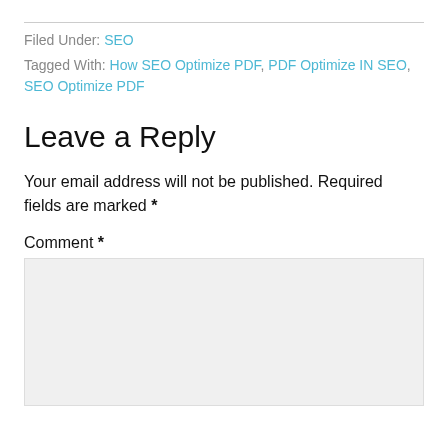Filed Under: SEO
Tagged With: How SEO Optimize PDF, PDF Optimize IN SEO, SEO Optimize PDF
Leave a Reply
Your email address will not be published. Required fields are marked *
Comment *